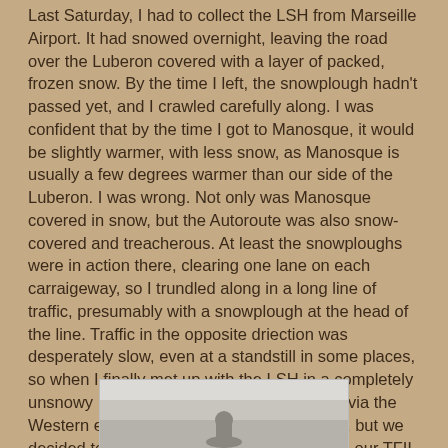Last Saturday, I had to collect the LSH from Marseille Airport.  It had snowed overnight, leaving the road over the Luberon covered with a layer of packed, frozen snow.  By the time I left, the snowplough hadn't passed yet, and I crawled carefully along.  I was confident that by the time I got to Manosque, it would be slightly warmer, with less snow, as Manosque is usually a few degrees warmer than our side of the Luberon.  I was wrong.  Not only was Manosque covered in snow, but the Autoroute was also snow-covered and treacherous.  At least the snowploughs were in action there, clearing one lane on each carraigeway, so I trundled along in a long line of traffic, presumably with a snowplough at the head of the line.  Traffic in the opposite driection was desperately slow, even at a standstill in some places, so when I finally met up with the LSH in a completely unsnowy Marseille, we decided to go home via the Western end of the Luberon – a long detour, but we decided to have lunch along the way and do our TFIL meal a day late.
Just as we passed through Cavaillon, I spotted this.
[Figure (photo): Partially visible photograph at the bottom of the page, showing a snowy or wintry outdoor scene, cut off by the page boundary.]